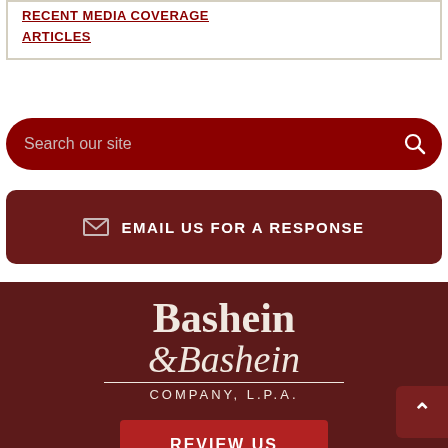RECENT MEDIA COVERAGE
ARTICLES
Search our site
EMAIL US FOR A RESPONSE
[Figure (logo): Bashein & Bashein Company, L.P.A. law firm logo in white serif text on dark red background]
REVIEW US